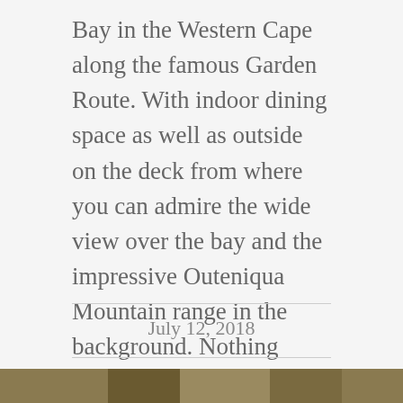Bay in the Western Cape along the famous Garden Route. With indoor dining space as well as outside on the deck from where you can admire the wide view over the bay and the impressive Outeniqua Mountain range in the background. Nothing beats the nostalgia invoked by the sight of a huge ship laying quietly at anchor in the middle of the bay. Stars promises fresh healthy food at affordable prices as well as a full range of premium coffees.
July 12, 2018
[Figure (photo): Partial view of a photograph at the bottom of the page, showing what appears to be an outdoor scene with warm golden-brown tones.]